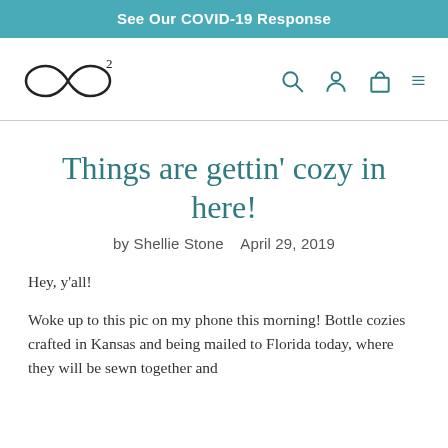See Our COVID-19 Response
[Figure (logo): Infinity symbol with superscript 2, store logo]
Things are gettin' cozy in here!
by Shellie Stone   April 29, 2019
Hey, y'all!
Woke up to this pic on my phone this morning! Bottle cozies crafted in Kansas and being mailed to Florida today, where they will be sewn together and bound for some Grand Opening! We can't say when or where just yet, but stay tuned—big things are coming!